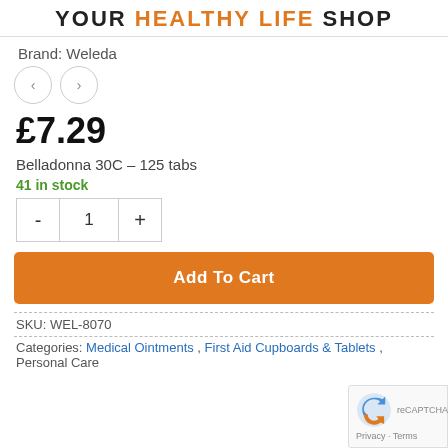YOUR HEALTHY LIFE Shop
Brand: Weleda
[Figure (other): Navigation arrows: left arrow circle and right arrow circle]
£7.29
Belladonna 30C – 125 tabs
41 in stock
- 1 +
Add To Cart
SKU: WEL-8070
Categories: Medical Ointments , First Aid Cupboards & Tablets , Personal Care